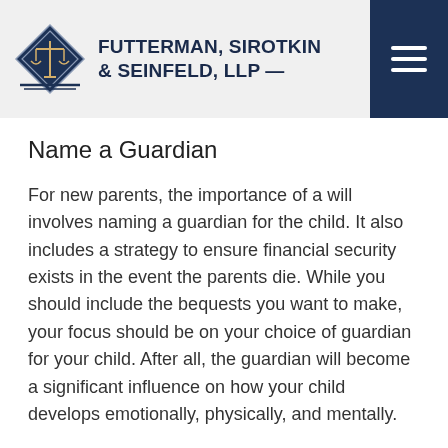[Figure (logo): Futterman, Sirotkin & Seinfeld, LLP law firm logo with scales of justice diamond icon and firm name, plus hamburger menu button]
Name a Guardian
For new parents, the importance of a will involves naming a guardian for the child. It also includes a strategy to ensure financial security exists in the event the parents die. While you should include the bequests you want to make, your focus should be on your choice of guardian for your child. After all, the guardian will become a significant influence on how your child develops emotionally, physically, and mentally.